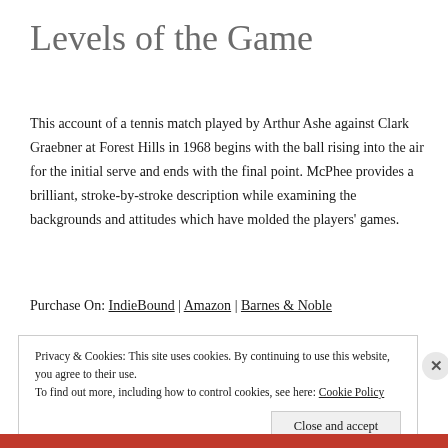Levels of the Game
This account of a tennis match played by Arthur Ashe against Clark Graebner at Forest Hills in 1968 begins with the ball rising into the air for the initial serve and ends with the final point. McPhee provides a brilliant, stroke-by-stroke description while examining the backgrounds and attitudes which have molded the players' games.
Purchase On: IndieBound | Amazon | Barnes & Noble
Privacy & Cookies: This site uses cookies. By continuing to use this website, you agree to their use. To find out more, including how to control cookies, see here: Cookie Policy
Close and accept